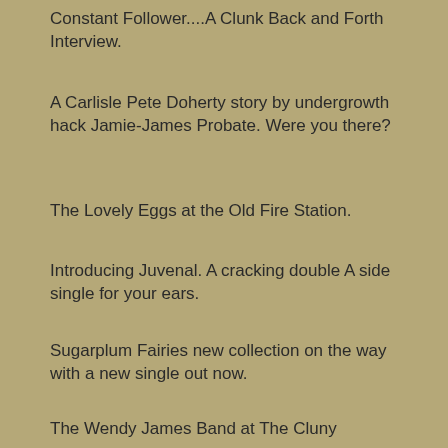Constant Follower....A Clunk Back and Forth Interview.
A Carlisle Pete Doherty story by undergrowth hack Jamie-James Probate. Were you there?
The Lovely Eggs at the Old Fire Station.
Introducing Juvenal. A cracking double A side single for your ears.
Sugarplum Fairies new collection on the way with a new single out now.
The Wendy James Band at The Cluny
Indie Street Club release 'Coming Home With